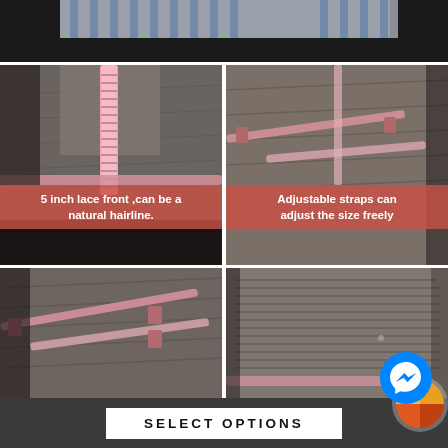[Figure (photo): Top strip showing a person wearing a wig with blue and white striped shirt in background]
[Figure (photo): Left: Wig cap interior viewed from top showing lace front with pink measuring tape. Caption: 5 inch lace front, can be a natural hairline.]
[Figure (photo): Right: Wig cap interior showing adjustable pink straps. Caption: Adjustable straps can adjust the size freely]
[Figure (photo): Bottom left: Close-up of wig cap interior with adjustable pink straps]
[Figure (photo): Bottom right: Close-up of wig cap showing ribbed construction with pink strap at bottom]
SELECT OPTIONS